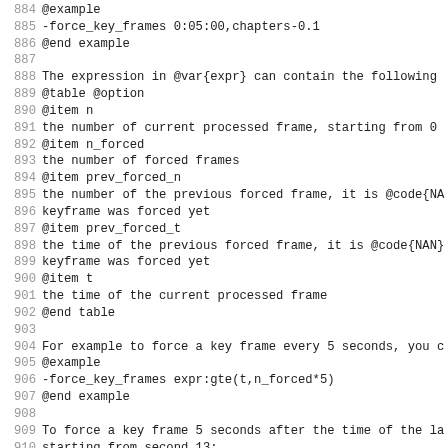884 @example
885 -force_key_frames 0:05:00,chapters-0.1
886 @end example
887
888 The expression in @var{expr} can contain the following
889 @table @option
890 @item n
891 the number of current processed frame, starting from 0
892 @item n_forced
893 the number of forced frames
894 @item prev_forced_n
895 the number of the previous forced frame, it is @code{NA
896 keyframe was forced yet
897 @item prev_forced_t
898 the time of the previous forced frame, it is @code{NAN}
899 keyframe was forced yet
900 @item t
901 the time of the current processed frame
902 @end table
903
904 For example to force a key frame every 5 seconds, you c
905 @example
906 -force_key_frames expr:gte(t,n_forced*5)
907 @end example
908
909 To force a key frame 5 seconds after the time of the la
910 starting from second 13:
911 @example
912 -force_key_frames expr:if(isnan(prev_forced_t),gte(t,13
913 @end example
914
915 Note that forcing too many keyframes is very harmful fo